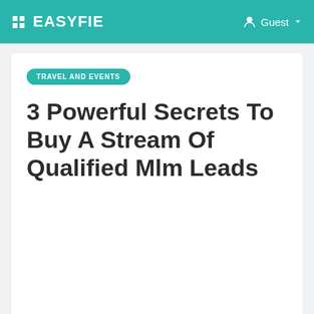EASYFIE  Guest
TRAVEL AND EVENTS
3 Powerful Secrets To Buy A Stream Of Qualified Mlm Leads